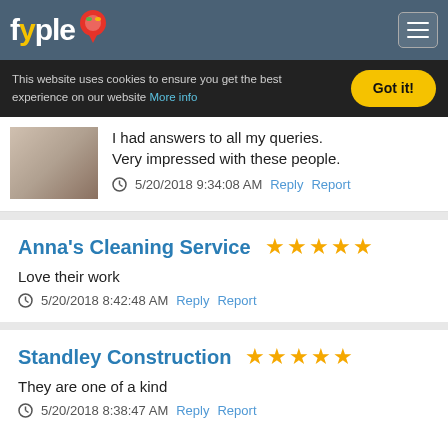fyple
This website uses cookies to ensure you get the best experience on our website More info
I had answers to all my queries. Very impressed with these people. 5/20/2018 9:34:08 AM Reply Report
Anna's Cleaning Service ★★★★★
Love their work
5/20/2018 8:42:48 AM Reply Report
Standley Construction ★★★★★
They are one of a kind
5/20/2018 8:38:47 AM Reply Report